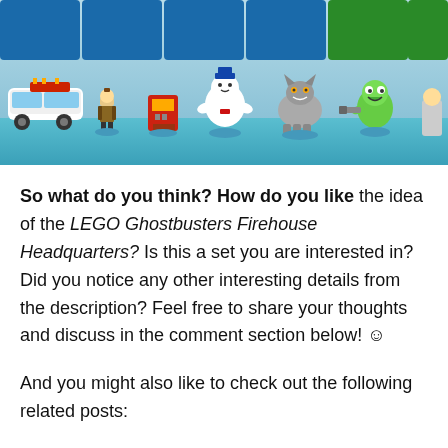[Figure (photo): LEGO Ghostbusters minifigures and vehicles displayed against a blue background, including the Ecto-1 car, various character minifigures, Stay Puft Marshmallow Man, a grey wolf/dog, and Slimer with equipment]
So what do you think? How do you like the idea of the LEGO Ghostbusters Firehouse Headquarters? Is this a set you are interested in? Did you notice any other interesting details from the description? Feel free to share your thoughts and discuss in the comment section below! ☺
And you might also like to check out the following related posts: